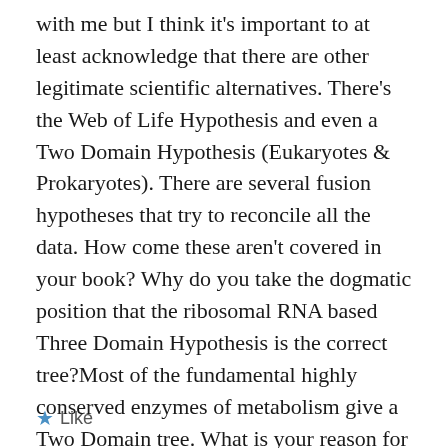with me but I think it's important to at least acknowledge that there are other legitimate scientific alternatives. There's the Web of Life Hypothesis and even a Two Domain Hypothesis (Eukaryotes & Prokaryotes). There are several fusion hypotheses that try to reconcile all the data. How come these aren't covered in your book? Why do you take the dogmatic position that the ribosomal RNA based Three Domain Hypothesis is the correct tree?Most of the fundamental highly conserved enzymes of metabolism give a Two Domain tree. What is your reason for dismissing this data without even a mention?
★ Like